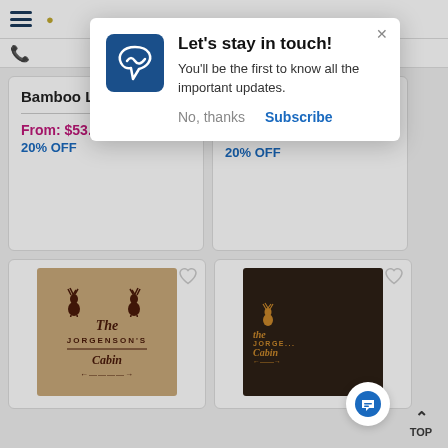[Figure (screenshot): Website popup notification: Let's stay in touch! with logo, body text, No thanks and Subscribe buttons, and close X]
Bamboo Luxe Napkins
From: $53.56
20% OFF
Paper Coffee Cups
$56.76
20% OFF
[Figure (photo): Kraft paper product with deer silhouettes and The Jorgenson's Cabin text]
[Figure (photo): Dark brown product with golden deer and The Jorgenson's Cabin text, partially covered by chat button]